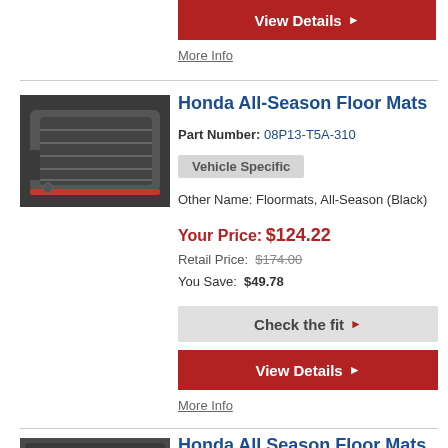[Figure (other): Red View Details button (partial, top of page)]
More Info
[Figure (photo): Photo of Honda All-Season Floor Mats (black rubber mats)]
Honda All-Season Floor Mats
Part Number: 08P13-T5A-310
Vehicle Specific
Other Name: Floormats, All-Season (Black)
Your Price: $124.22
Retail Price: $174.00
You Save: $49.78
[Figure (other): Check the fit button]
[Figure (other): View Details button]
More Info
[Figure (photo): Photo of Honda All Season Floor Mats High Wall (partial)]
Honda All Season Floor Mats High Wall